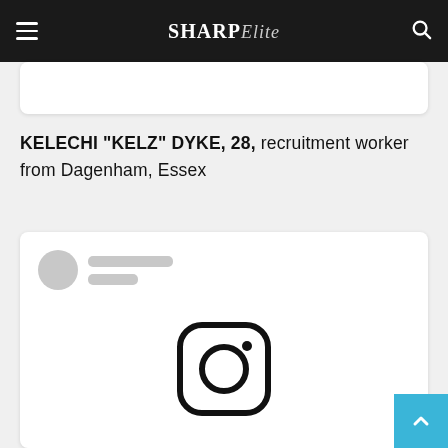Sharp Elite — navigation bar with hamburger menu, logo 'SHARP Elite', and search icon
KELECHI “KELZ” DYKE, 28,  recruitment worker from Dagenham,  Essex
[Figure (screenshot): A social media post card placeholder with a circular avatar and two grey loading bars at the top, and an Instagram logo icon at the bottom center]
[Figure (logo): Instagram logo icon — rounded square with circle and dot]